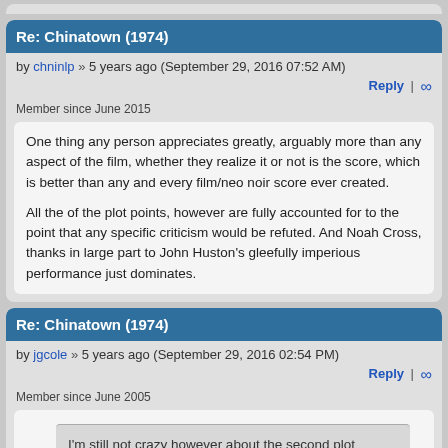Re: Chinatown (1974)
by chninlp » 5 years ago (September 29, 2016 07:52 AM)
Member since June 2015
One thing any person appreciates greatly, arguably more than any aspect of the film, whether they realize it or not is the score, which is better than any and every film/neo noir score ever created.

All the of the plot points, however are fully accounted for to the point that any specific criticism would be refuted. And Noah Cross, thanks in large part to John Huston's gleefully imperious performance just dominates.
Re: Chinatown (1974)
by jgcole » 5 years ago (September 29, 2016 02:54 PM)
Member since June 2005
I'm still not crazy however about the second plot dealing with Dunaway, her daughter and the involvement of Huston (director of 'The Maltese Falcon'), it feels forced in and doesn't quite add up for mo